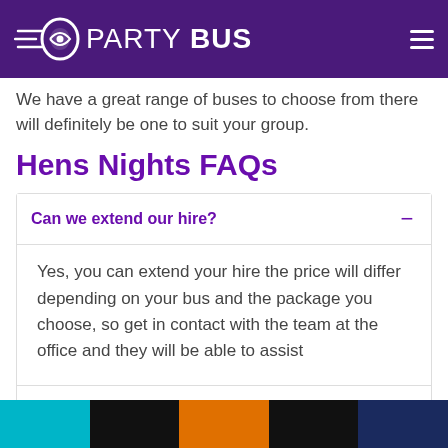PARTY BUS
We have a great range of buses to choose from there will definitely be one to suit your group.
Hens Nights FAQs
Can we extend our hire?
Yes, you can extend your hire the price will differ depending on your bus and the package you choose, so get in contact with the team at the office and they will be able to assist
Can we BYO?
Can we just drive around?